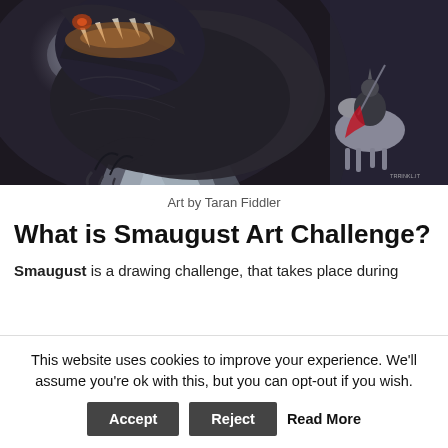[Figure (illustration): Fantasy digital art depicting a massive dark dragon with open jaws facing a knight on horseback in a cave setting. Watermark reads 'TRRINKL.IT' in bottom right corner.]
Art by Taran Fiddler
What is Smaugust Art Challenge?
Smaugust is a drawing challenge, that takes place during August. The objective is to draw a dragon once a day...
This website uses cookies to improve your experience. We'll assume you're ok with this, but you can opt-out if you wish.
Accept  Reject  Read More